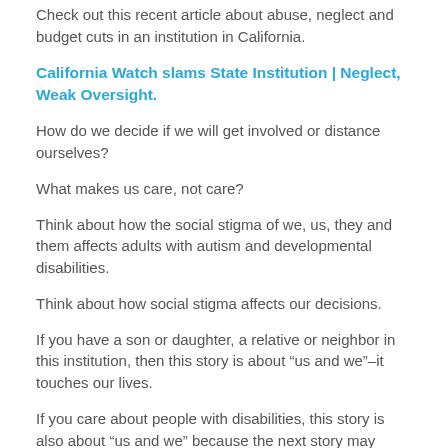Check out this recent article about abuse, neglect and budget cuts in an institution in California.
California Watch slams State Institution | Neglect, Weak Oversight.
How do we decide if we will get involved or distance ourselves?
What makes us care, not care?
Think about how the social stigma of we, us, they and them affects adults with autism and developmental disabilities.
Think about how social stigma affects our decisions.
If you have a son or daughter, a relative or neighbor in this institution, then this story is about “us and we”–it touches our lives.
If you care about people with disabilities, this story is also about “us and we” because the next story may